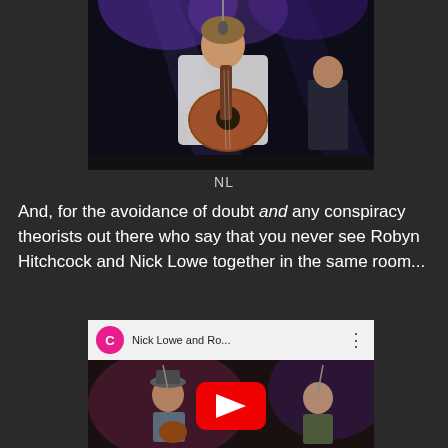[Figure (photo): Concert photo of a man in a white shirt playing an acoustic guitar on stage with purple/blue stage lighting. Another musician visible in the background.]
NL
And, for the avoidance of doubt and any conspiracy theorists out there who say that you never see Robyn Hitchcock and Nick Lowe together in the same room...
[Figure (screenshot): YouTube video thumbnail showing 'Nick Lowe and Ro...' with two musicians performing on stage. YouTube play button overlay visible. Channel avatar is a pink circle with letter C.]